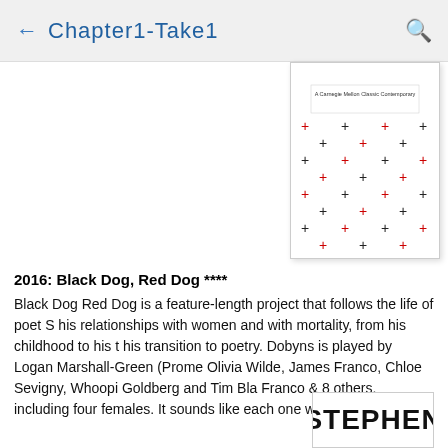← Chapter1-Take1
[Figure (illustration): Book cover for 'Black Dog, Red Dog' featuring a white background with a pattern of alternating black and red plus/cross symbols scattered across the cover, with a subtitle text in the center area reading 'A Carnegie Mellon Classic Contemporary']
2016: Black Dog, Red Dog ****
Black Dog Red Dog is a feature-length project that follows the life of poet S his relationships with women and with mortality, from his childhood to his t his transition to poetry. Dobyns is played by Logan Marshall-Green (Prome Olivia Wilde, James Franco, Chloe Sevigny, Whoopi Goldberg and Tim Bla Franco & 8 others, including four females. It sounds like each one would ha direct.
[Figure (photo): Partial view of what appears to be a book cover or poster showing the text 'STEPHEN' in large bold black letters]